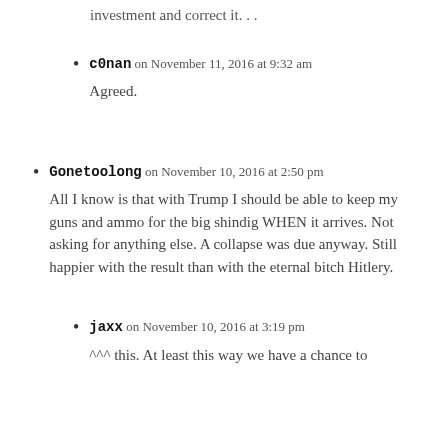investment and correct it. . .
c0nan on November 11, 2016 at 9:32 am
Agreed.
Gonetoolong on November 10, 2016 at 2:50 pm
All I know is that with Trump I should be able to keep my guns and ammo for the big shindig WHEN it arrives. Not asking for anything else. A collapse was due anyway. Still happier with the result than with the eternal bitch Hitlery.
jaxx on November 10, 2016 at 3:19 pm
^^^ this. At least this way we have a chance to